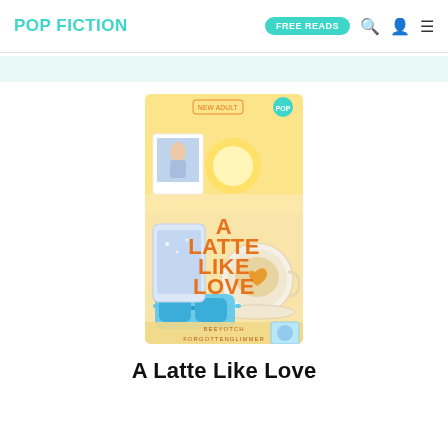POP FICTION | FREE READS
[Figure (illustration): Book cover of 'A Latte Like Love' featuring a coffee with a heart, blue sunglasses, a phone, and polaroid photos on a warm yellow background. Title text in bold orange reads 'A LATTE LIKE LOVE'. Authors: BEEYOTCH FORGOTTENGLIMMER. Badge reads 'NEW ADULT' with a POP logo.]
A Latte Like Love